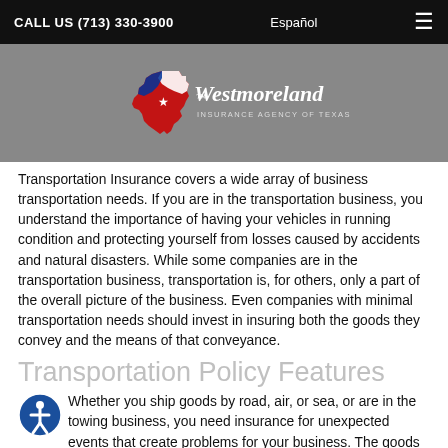CALL US (713) 330-3900   Español   ≡
[Figure (logo): Westmoreland Insurance Agency of Texas logo with Texas state outline in red, white, and blue]
Transportation Insurance covers a wide array of business transportation needs. If you are in the transportation business, you understand the importance of having your vehicles in running condition and protecting yourself from losses caused by accidents and natural disasters. While some companies are in the transportation business, transportation is, for others, only a part of the overall picture of the business. Even companies with minimal transportation needs should invest in insuring both the goods they convey and the means of that conveyance.
Transportation Policy Features
Whether you ship goods by road, air, or sea, or are in the towing business, you need insurance for unexpected events that create problems for your business. The goods you transport could get damaged despite your efforts to pack